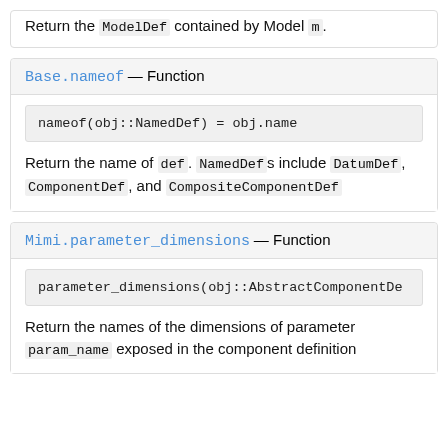Return the ModelDef contained by Model m.
Base.nameof — Function
Return the name of def. NamedDefs include DatumDef, ComponentDef, and CompositeComponentDef
Mimi.parameter_dimensions — Function
Return the names of the dimensions of parameter param_name exposed in the component definition